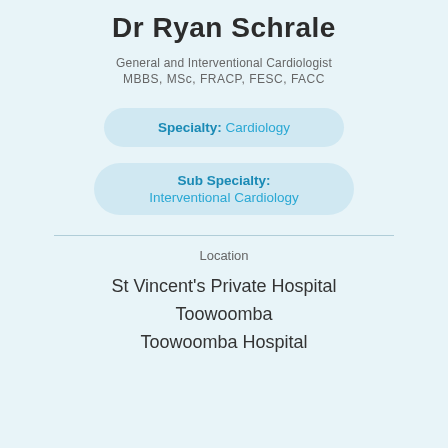Dr Ryan Schrale
General and Interventional Cardiologist
MBBS, MSc, FRACP, FESC, FACC
Specialty: Cardiology
Sub Specialty: Interventional Cardiology
Location
St Vincent's Private Hospital
Toowoomba
Toowoomba Hospital